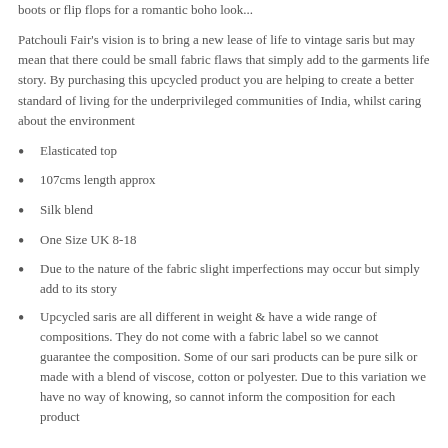boots or flip flops for a romantic boho look...
Patchouli Fair's vision is to bring a new lease of life to vintage saris but may mean that there could be small fabric flaws that simply add to the garments life story. By purchasing this upcycled product you are helping to create a better standard of living for the underprivileged communities of India, whilst caring about the environment
Elasticated top
107cms length approx
Silk blend
One Size UK 8-18
Due to the nature of the fabric slight imperfections may occur but simply add to its story
Upcycled saris are all different in weight & have a wide range of compositions. They do not come with a fabric label so we cannot guarantee the composition. Some of our sari products can be pure silk or made with a blend of viscose, cotton or polyester. Due to this variation we have no way of knowing, so cannot inform the composition for each product